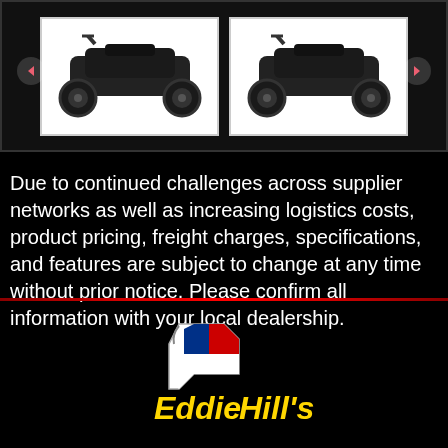[Figure (photo): Two ATV vehicles shown side by side in a dark panel with navigation arrows]
Due to continued challenges across supplier networks as well as increasing logistics costs, product pricing, freight charges, specifications, and features are subject to change at any time without prior notice. Please confirm all information with your local dealership.
[Figure (logo): Eddie Hill's dealership logo with Texas flag thumbs-up icon and yellow script text]